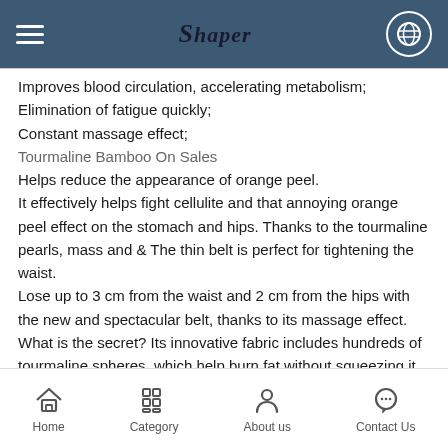Shaper
Improves blood circulation, accelerating metabolism;
Elimination of fatigue quickly;
Constant massage effect;
Tourmaline Bamboo On Sales
Helps reduce the appearance of orange peel. It effectively helps fight cellulite and that annoying orange peel effect on the stomach and hips. Thanks to the tourmaline pearls, mass and & The thin belt is perfect for tightening the waist. Lose up to 3 cm from the waist and 2 cm from the hips with the new and spectacular belt, thanks to its massage effect. What is the secret? Its innovative fabric includes hundreds of tourmaline spheres, which help burn fat without squeezing it.
Home | Category | About us | Contact Us